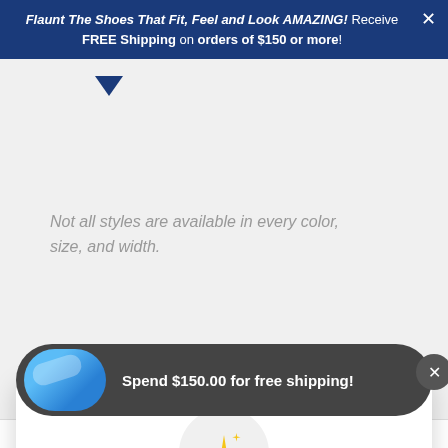Flaunt The Shoes That Fit, Feel and Look AMAZING! Receive FREE Shipping on orders of $150 or more!
Not all styles are available in every color, size, and width.
Unlock exclusive rewards and perks
Sign up or Log in
Sign up
Spend $150.00 for free shipping!
Based on 8 reviews